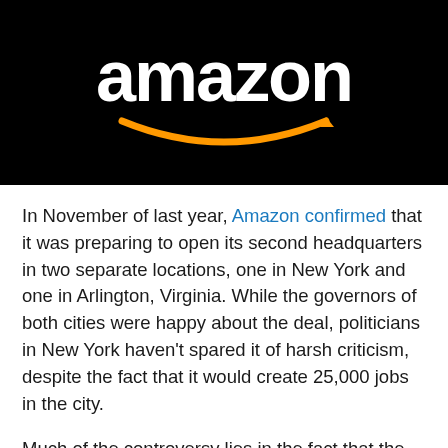[Figure (logo): Amazon logo — white 'amazon' wordmark with orange arrow/smile beneath it, on black background]
In November of last year, Amazon confirmed that it was preparing to open its second headquarters in two separate locations, one in New York and one in Arlington, Virginia. While the governors of both cities were happy about the deal, politicians in New York haven't spared it of harsh criticism, despite the fact that it would create 25,000 jobs in the city.
Much of the controversy lies in the fact that the Amazon will receive large subsidies - as much as $1.5 billion - as an incentive, especially considering that it's the most valuable company in the world. Those opposing the deal